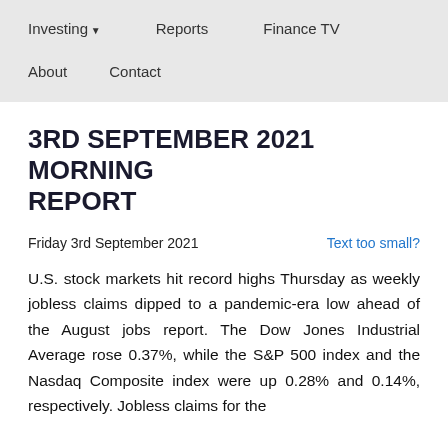Investing ▼   Reports   Finance TV   About   Contact
3RD SEPTEMBER 2021 MORNING REPORT
Friday 3rd September 2021
Text too small?
U.S. stock markets hit record highs Thursday as weekly jobless claims dipped to a pandemic-era low ahead of the August jobs report. The Dow Jones Industrial Average rose 0.37%, while the S&P 500 index and the Nasdaq Composite index were up 0.28% and 0.14%, respectively. Jobless claims for the